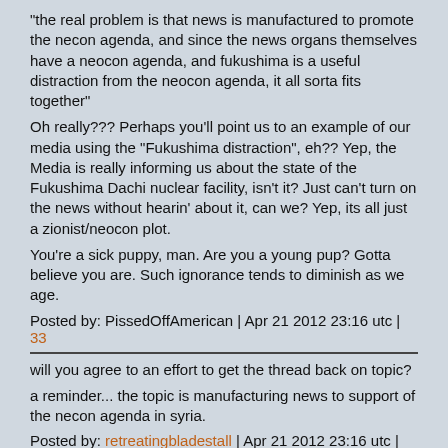"the real problem is that news is manufactured to promote the necon agenda, and since the news organs themselves have a neocon agenda, and fukushima is a useful distraction from the neocon agenda, it all sorta fits together"
Oh really??? Perhaps you'll point us to an example of our media using the "Fukushima distraction", eh?? Yep, the Media is really informing us about the state of the Fukushima Dachi nuclear facility, isn't it? Just can't turn on the news without hearin' about it, can we? Yep, its all just a zionist/neocon plot.
You're a sick puppy, man. Are you a young pup? Gotta believe you are. Such ignorance tends to diminish as we age.
Posted by: PissedOffAmerican | Apr 21 2012 23:16 utc | 33
will you agree to an effort to get the thread back on topic?
a reminder... the topic is manufacturing news to support of the necon agenda in syria.
Posted by: retreatingbladestall | Apr 21 2012 23:16 utc | 34
we got all these reports in the neocon media about deaths in